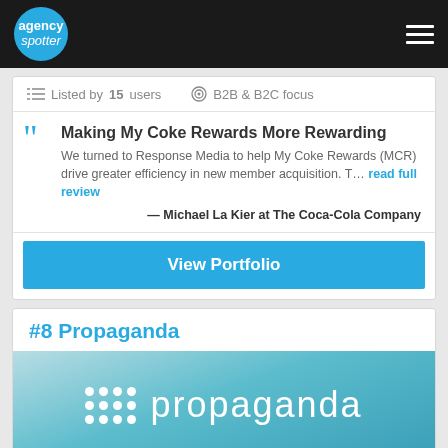agency spotter
Listed by 15 users   B2B & B2C focus
Making My Coke Rewards More Rewarding
We turned to Response Media to help My Coke Rewards (MCR) drive greater efficiency in new member acquisition. T... read full review
— Michael La Kier at The Coca-Cola Company
View Portfolio
#8 Propaganda
[Figure (logo): Propaganda company logo: dot grid pattern followed by 'propaganda' text in white on teal/blue gradient background]